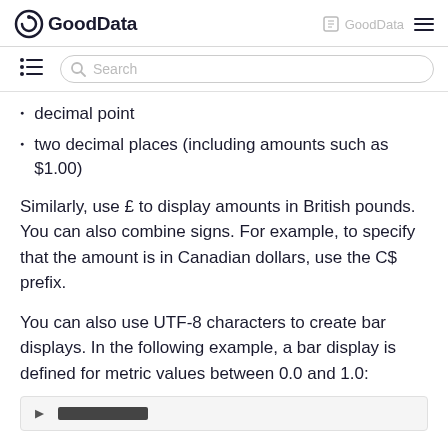GoodData | GoodData
decimal point
two decimal places (including amounts such as $1.00)
Similarly, use £ to display amounts in British pounds. You can also combine signs. For example, to specify that the amount is in Canadian dollars, use the C$ prefix.
You can also use UTF-8 characters to create bar displays. In the following example, a bar display is defined for metric values between 0.0 and 1.0:
[Figure (screenshot): Partial code/UI element visible at the bottom of the page]